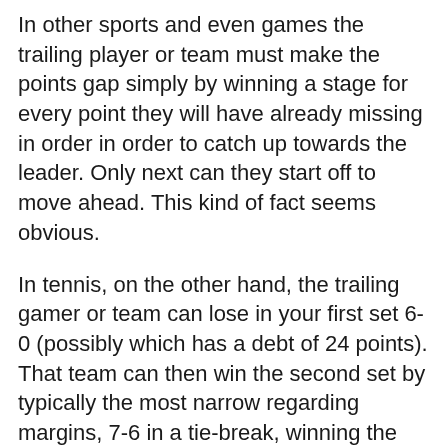In other sports and even games the trailing player or team must make the points gap simply by winning a stage for every point they will have already missing in order in order to catch up towards the leader. Only next can they start off to move ahead. This kind of fact seems obvious.
In tennis, on the other hand, the trailing gamer or team can lose in your first set 6-0 (possibly which has a debt of 24 points). That team can then win the second set by typically the most narrow regarding margins, 7-6 in a tie-break, winning the set by very few details (or even by simply winning fewer details than the opposing team, an unusual but possible occurrence! ).
As soon as typically the trailing player or even team wins typically the second set, the particular two